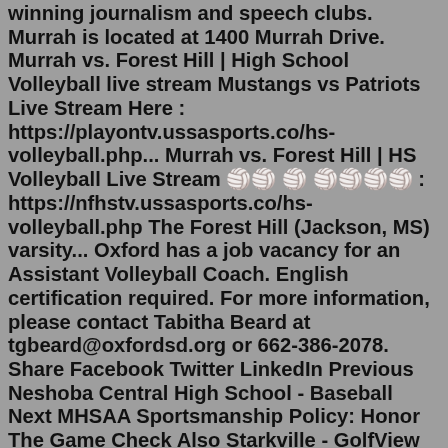winning journalism and speech clubs. Murrah is located at 1400 Murrah Drive. Murrah vs. Forest Hill | High School Volleyball live stream Mustangs vs Patriots Live Stream Here : https://playontv.ussasports.co/hs-volleyball.php... Murrah vs. Forest Hill | HS Volleyball Live Stream 🏐 ᴴᴰ ʟɪᴠᴇ : https://nfhstv.ussasports.co/hs-volleyball.php The Forest Hill (Jackson, MS) varsity... Oxford has a job vacancy for an Assistant Volleyball Coach. English certification required. For more information, please contact Tabitha Beard at tgbeard@oxfordsd.org or 662-386-2078. Share Facebook Twitter LinkedIn Previous Neshoba Central High School - Baseball Next MHSAA Sportsmanship Policy: Honor The Game Check Also Starkville - GolfView pregame, in-game and post-game details from the Madison Central (Madison, MS) @ Murrah (Jackson, MS) conference volleyball match on Tue, 8/30/2022. CBSSPORTS.COM 247SPORTS The Murrah High School Store allows you to customize Mustangs clothing and merch.